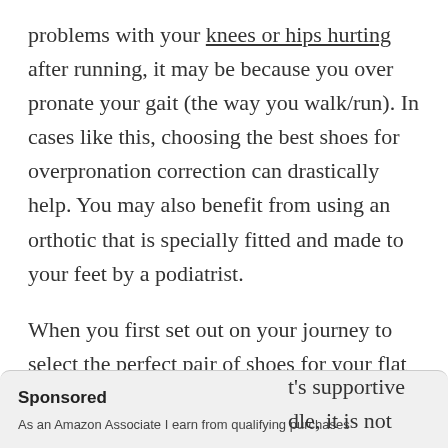problems with your knees or hips hurting after running, it may be because you over pronate your gait (the way you walk/run). In cases like this, choosing the best shoes for overpronation correction can drastically help. You may also benefit from using an orthotic that is specially fitted and made to your feet by a podiatrist.
When you first set out on your journey to select the perfect pair of shoes for your flat feet, there are three tests you can do while purchasing to make sure you're getting the correct support you need.
Sponsored
As an Amazon Associate I earn from qualifying purchases